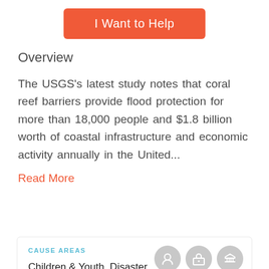[Figure (other): Orange rounded button labeled 'I Want to Help']
Overview
The USGS's latest study notes that coral reef barriers provide flood protection for more than 18,000 people and $1.8 billion worth of coastal infrastructure and economic activity annually in the United...
Read More
CAUSE AREAS
Children & Youth, Disaster Relief, Education & Literacy